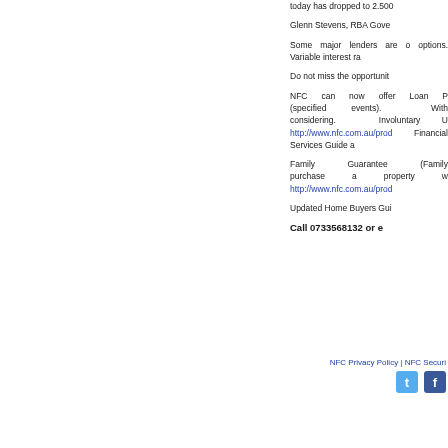today has dropped to 2.500
Glenn Stevens, RBA Gove
Some major lenders are o options. Variable interest ra
Do not miss the opportunit
NFC can now offer Loan P (specified events). With considering. Involuntary U http://www.nfc.com.au/prod Financial Services Guide a
Family Guarantee (Family purchase a property w http://www.nfc.com.au/prod
Updated Home Buyers Gui
Call 0733568132 or e
NFC Privacy Policy | NFC Securi